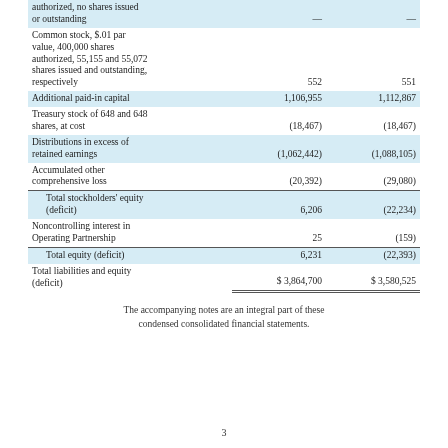|  | Col1 | Col2 |
| --- | --- | --- |
| authorized, no shares issued or outstanding | — | — |
| Common stock, $.01 par value, 400,000 shares authorized, 55,155 and 55,072 shares issued and outstanding, respectively | 552 | 551 |
| Additional paid-in capital | 1,106,955 | 1,112,867 |
| Treasury stock of 648 and 648 shares, at cost | (18,467) | (18,467) |
| Distributions in excess of retained earnings | (1,062,442) | (1,088,105) |
| Accumulated other comprehensive loss | (20,392) | (29,080) |
| Total stockholders' equity (deficit) | 6,206 | (22,234) |
| Noncontrolling interest in Operating Partnership | 25 | (159) |
| Total equity (deficit) | 6,231 | (22,393) |
| Total liabilities and equity (deficit) | $ 3,864,700 | $ 3,580,525 |
The accompanying notes are an integral part of these condensed consolidated financial statements.
3